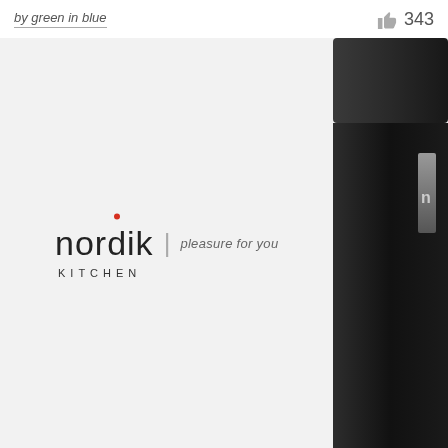by green in blue
343
[Figure (logo): Nordik Kitchen logo with red dot above the 'i', vertical divider, and tagline 'pleasure for you', with 'KITCHEN' below in spaced capitals]
[Figure (photo): Partial view of a dark/black kitchen product (bottle or dispenser) cropped at the right edge of the image area]